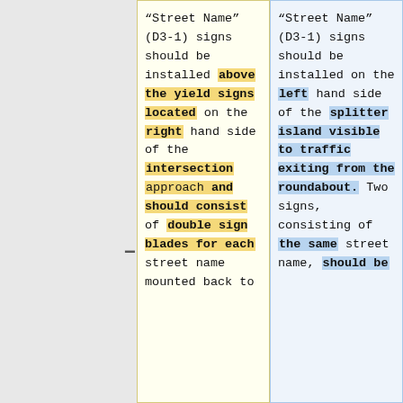“Street Name” (D3-1) signs should be installed above the yield signs located on the right hand side of the intersection approach and should consist of double sign blades for each street name mounted back to
“Street Name” (D3-1) signs should be installed on the left hand side of the splitter island visible to traffic exiting from the roundabout. Two signs, consisting of the same street name, should be